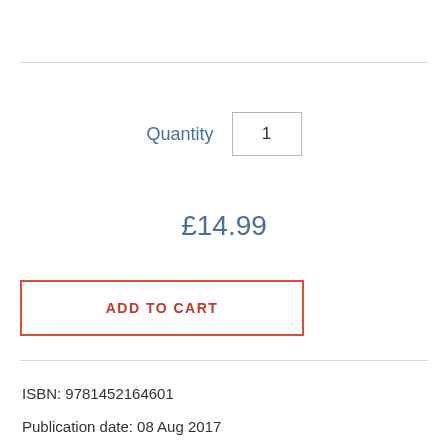Quantity  1
£14.99
ADD TO CART
ISBN: 9781452164601
Publication date: 08 Aug 2017